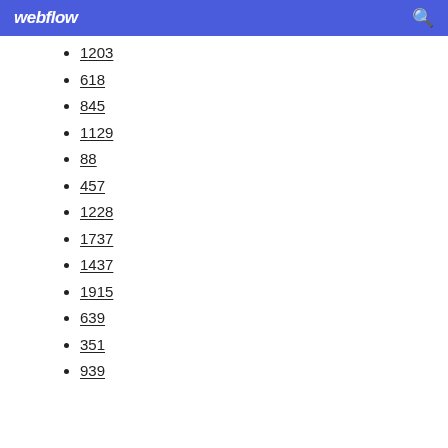webflow
1203
618
845
1129
88
457
1228
1737
1437
1915
639
351
939